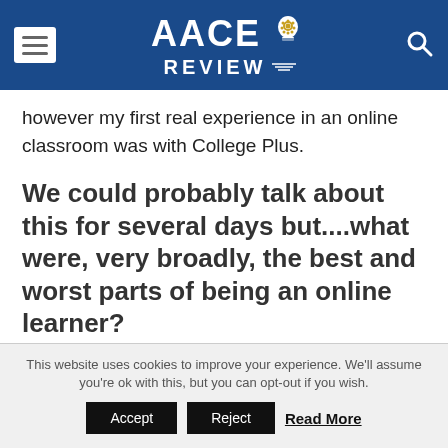AACE REVIEW
however my first real experience in an online classroom was with College Plus.
We could probably talk about this for several days but....what were, very broadly, the best and worst parts of being an online learner?
From the admins at the local University of Phoenix who proctored me through nearly 25 CLEP exams to my College Plus Coach, Carissa, to professors I still
This website uses cookies to improve your experience. We'll assume you're ok with this, but you can opt-out if you wish. Accept Reject Read More